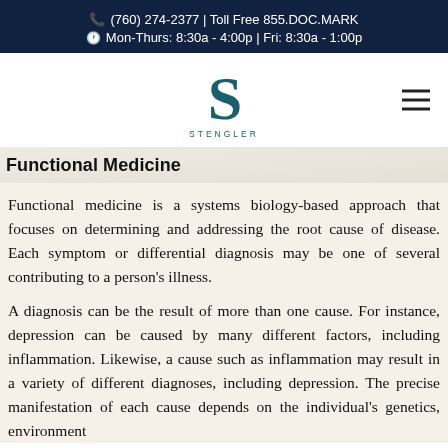(760) 274-2377 | Toll Free 855.DOC.MARK  Mon-Thurs: 8:30a - 4:00p | Fri: 8:30a - 1:00p
[Figure (logo): Stengler logo — stylized S letterform in teal/dark blue with STENGLER wordmark below]
Functional Medicine
Functional medicine is a systems biology-based approach that focuses on determining and addressing the root cause of disease. Each symptom or differential diagnosis may be one of several contributing to a person's illness.
A diagnosis can be the result of more than one cause. For instance, depression can be caused by many different factors, including inflammation. Likewise, a cause such as inflammation may result in a variety of different diagnoses, including depression. The precise manifestation of each cause depends on the individual's genetics, environment